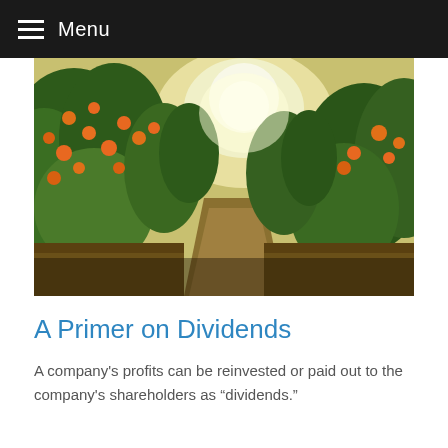Menu
[Figure (photo): Orange orchard with rows of orange trees laden with ripe oranges, sunlight streaming through the canopy, path between trees with golden ground cover]
A Primer on Dividends
A company's profits can be reinvested or paid out to the company's shareholders as “dividends.”